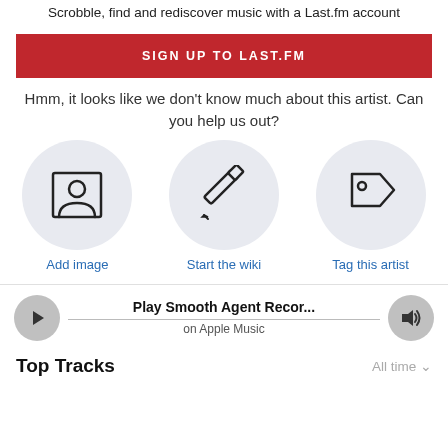Scrobble, find and rediscover music with a Last.fm account
SIGN UP TO LAST.FM
Hmm, it looks like we don't know much about this artist. Can you help us out?
[Figure (infographic): Three circular icons: Add image (person/photo icon), Start the wiki (pencil icon), Tag this artist (tag icon)]
Play Smooth Agent Recor... on Apple Music
Top Tracks
All time